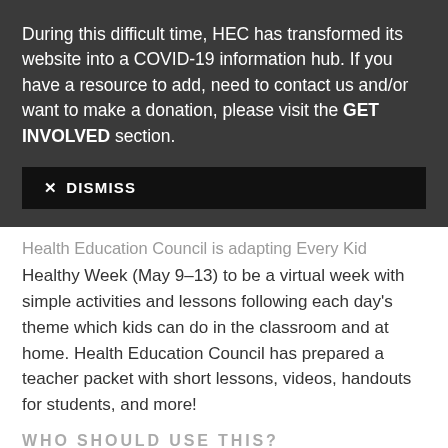During this difficult time, HEC has transformed its website into a COVID-19 information hub. If you have a resource to add, need to contact us and/or want to make a donation, please visit the GET INVOLVED section.
✕ DISMISS
Health Education Council is adapting Every Kid Healthy Week (May 9-13) to be a virtual week with simple activities and lessons following each day's theme which kids can do in the classroom and at home. Health Education Council has prepared a teacher packet with short lessons, videos, handouts for students, and more!
WHO SHOULD USE THIS?
Teachers